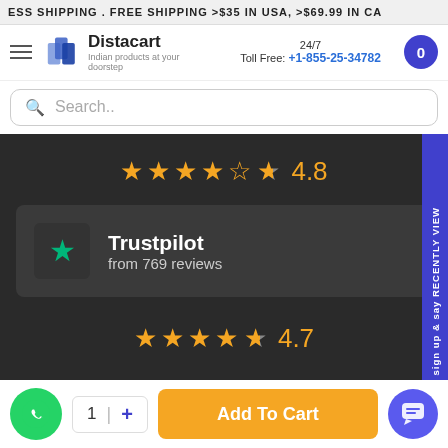ESS SHIPPING . FREE SHIPPING >$35 IN USA, >$69.99 IN CA
[Figure (logo): Distacart logo with tagline 'Indian products at your doorstep']
24/7 Toll Free: +1-855-25-34782
Search..
[Figure (infographic): Star rating 4.8 with 5 gold stars (4 full, 1 half)]
[Figure (infographic): Trustpilot card showing green star logo, 'Trustpilot' title, 'from 769 reviews']
[Figure (infographic): Star rating 4.7 with 5 gold stars (4 full, 1 half)]
sign up & say RECENTLY VIEW
1 + Add To Cart